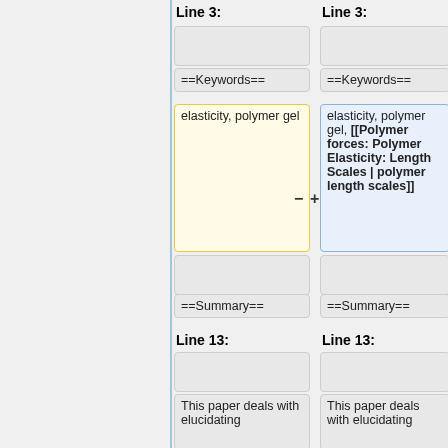Line 3:
Line 3:
==Keywords==
==Keywords==
elasticity, polymer gel
elasticity, polymer gel, [[Polymer forces: Polymer Elasticity: Length Scales | polymer length scales]]
==Summary==
==Summary==
Line 13:
Line 13:
This paper deals with elucidating
This paper deals with elucidating